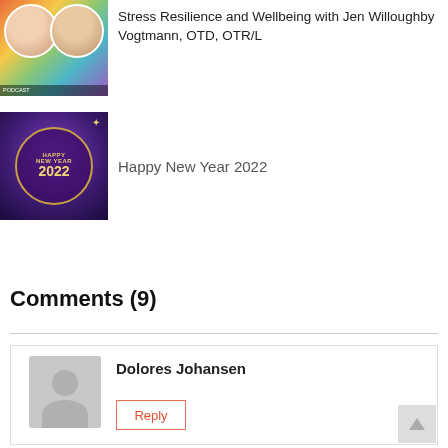[Figure (photo): Podcast thumbnail with two women and colorful background]
Stress Resilience and Wellbeing with Jen Willoughby Vogtmann, OTD, OTR/L
[Figure (photo): Happy New Year 2022 purple sparkle graphic with gold circle]
Happy New Year 2022
Comments (9)
Dolores Johansen
Reply